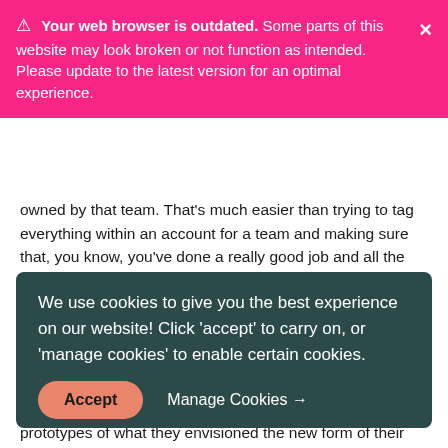⚠ Your web browser is outdated. Some parts of this website may look broken or not function as intended. Please update to the latest version for an optimal experience.
owned by that team. That's much easier than trying to tag everything within an account for a team and making sure that, you know, you've done a really good job and all the tagging, and then you have tagging policies and all these other overheads that you've got to do in your business to do it, right.
Joel Parks  22:09
Yeah, so I think we may have a quick digression into story time.
We use cookies to give you the best experience on our website! Click 'accept' to carry on, or 'manage cookies' to enable certain cookies.
Accept
Manage Cookies →
prototypes of what they envisioned the new form of their